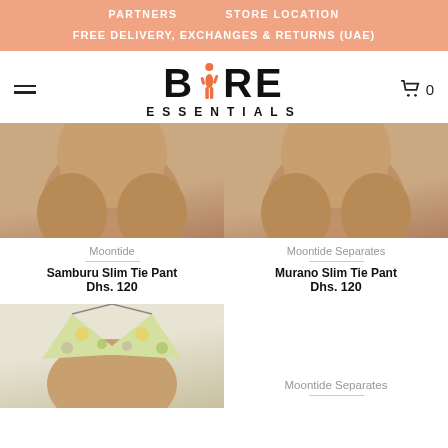PARTNERS   STORE LOCATION
FREE DELIVERY, EXCHANGES & RETURNS (UAE)
BARE ESSENTIALS
Moontide
Samburu Slim Tie Pant
Dhs. 120
Moontide Separates
Murano Slim Tie Pant
Dhs. 120
[Figure (photo): Product photo: close-up of person wearing swimwear bottom, left product]
[Figure (photo): Product photo: close-up of person wearing swimwear bottom, right product]
[Figure (photo): Product photo: person wearing floral print bikini top]
Moontide Separates